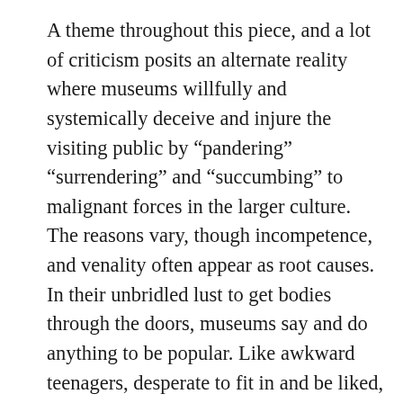A theme throughout this piece, and a lot of criticism posits an alternate reality where museums willfully and systemically deceive and injure the visiting public by “pandering” “surrendering” and “succumbing” to malignant forces in the larger culture. The reasons vary, though incompetence, and venality often appear as root causes. In their unbridled lust to get bodies through the doors, museums say and do anything to be popular. Like awkward teenagers, desperate to fit in and be liked, despite their unfashionableness, they make deceptive promises that ultimately do a profound disservice to the visiting public and to the art that museums allegedly steward for future